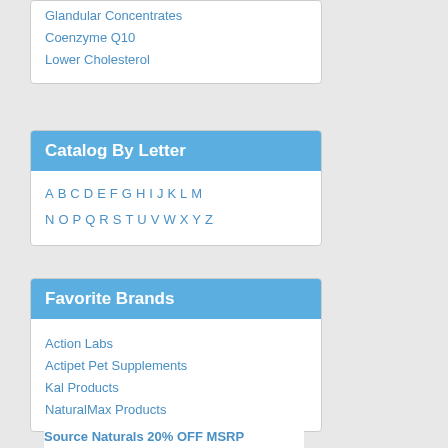Glandular Concentrates
Coenzyme Q10
Lower Cholesterol
Catalog By Letter
A B C D E F G H I J K L M
N O P Q R S T U V W X Y Z
Favorite Brands
Action Labs
Actipet Pet Supplements
Kal Products
NaturalMax Products
Premier One Bee Products
Solaray Products
Source Naturals
Sunny Greens
VegLife Vegan Line
Natures Life
Natural Sport
Miztique Teas
Source Naturals 20% OFF MSRP